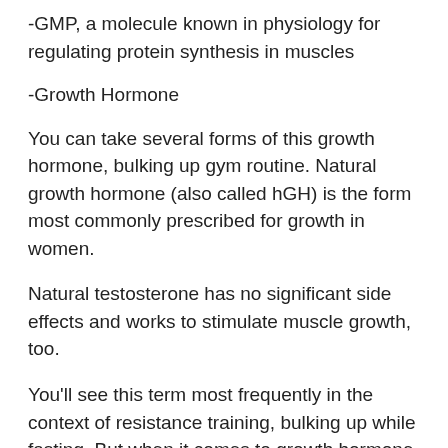-GMP, a molecule known in physiology for regulating protein synthesis in muscles
-Growth Hormone
You can take several forms of this growth hormone, bulking up gym routine. Natural growth hormone (also called hGH) is the form most commonly prescribed for growth in women.
Natural testosterone has no significant side effects and works to stimulate muscle growth, too.
You'll see this term most frequently in the context of resistance training, bulking up while fasting. But when it comes to growth hormone, the body can make up its own mind when it comes to how to regulate it.